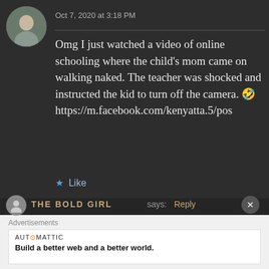Oct 7, 2020 at 3:18 PM
Omg I just watched a video of online schooling where the child's mom came on walking naked. The teacher was shocked and instructed the kid to turn off the camera. 🤣 https://m.facebook.com/kenyatta.5/po...
★ Like
THE BOLD GIRL says: Reply
Advertisements
AUTOMATTIC
Build a better web and a better world.